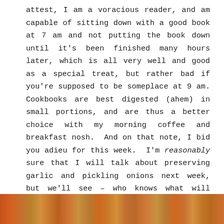attest, I am a voracious reader, and am capable of sitting down with a good book at 7 am and not putting the book down until it's been finished many hours later, which is all very well and good as a special treat, but rather bad if you're supposed to be someplace at 9 am. Cookbooks are best digested (ahem) in small portions, and are thus a better choice with my morning coffee and breakfast nosh.  And on that note, I bid you adieu for this week.  I'm reasonably sure that I will talk about preserving garlic and pickling onions next week, but we'll see – who knows what will distract me in the interim??  Until then and ever so fondly, yr little munakins
[Figure (photo): Partial image of food items visible at the bottom of the page, appearing to show orange/brown coloured food, possibly garlic or onions]